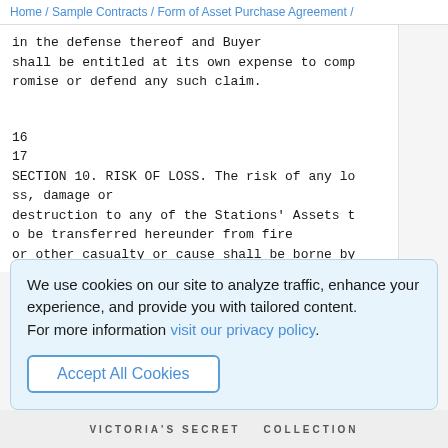Home / Sample Contracts / Form of Asset Purchase Agreement /
in the defense thereof and Buyer shall be entitled at its own expense to compromise or defend any such claim.
16
17
SECTION 10. RISK OF LOSS. The risk of any loss, damage or destruction to any of the Stations' Assets to be transferred hereunder from fire or other casualty or cause shall be borne by
We use cookies on our site to analyze traffic, enhance your experience, and provide you with tailored content.
For more information visit our privacy policy.
Accept All Cookies